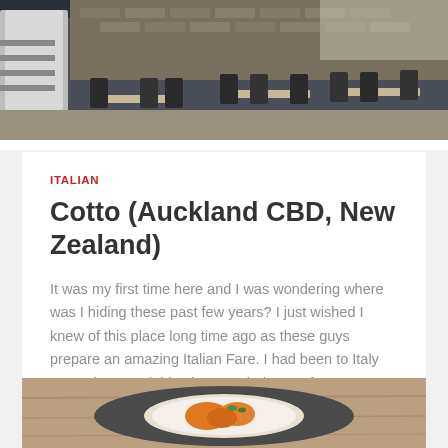[Figure (photo): Interior of a restaurant with black chairs, wooden tables, and brick wall in the background. A person in a white shirt is partially visible on the left.]
ITALIAN
Cotto (Auckland CBD, New Zealand)
It was my first time here and I was wondering where was I hiding these past few years? I just wished I knew of this place long time ago as these guys prepare an amazing Italian Fare. I had been to Italy many times and this place reminds me of...
[Figure (photo): Close-up of a plate of food on a dark textured placemat, with orange-colored food items on a light-colored plate.]